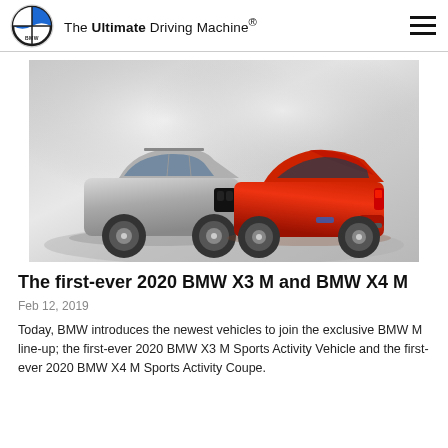The Ultimate Driving Machine®
[Figure (photo): Two BMW vehicles side by side on a grey studio background: a silver BMW X3 M SUV on the left facing front-right, and a red BMW X4 M coupe on the right facing rear-left.]
The first-ever 2020 BMW X3 M and BMW X4 M
Feb 12, 2019
Today, BMW introduces the newest vehicles to join the exclusive BMW M line-up; the first-ever 2020 BMW X3 M Sports Activity Vehicle and the first-ever 2020 BMW X4 M Sports Activity Coupe.